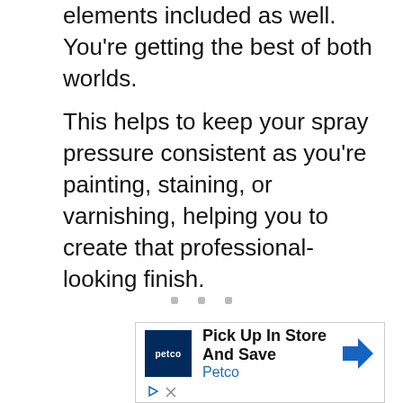elements included as well. You’re getting the best of both worlds.
This helps to keep your spray pressure consistent as you’re painting, staining, or varnishing, helping you to create that professional-looking finish.
[Figure (other): Three small gray square dots arranged horizontally, indicating a pagination or navigation element]
[Figure (other): Petco advertisement banner with logo, headline 'Pick Up In Store And Save', subtext 'Petco', and a blue diamond-shaped arrow icon. Controls for play and close are shown below.]